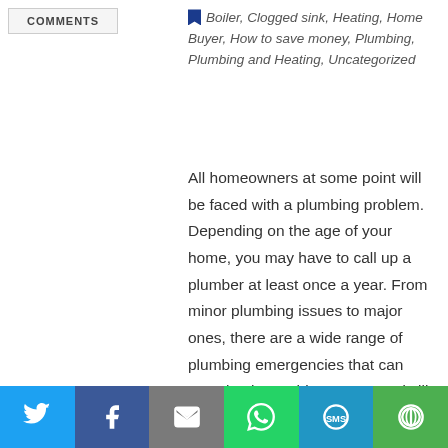COMMENTS
Boiler, Clogged sink, Heating, Home Buyer, How to save money, Plumbing, Plumbing and Heating, Uncategorized
All homeowners at some point will be faced with a plumbing problem. Depending on the age of your home, you may have to call up a plumber at least once a year. From minor plumbing issues to major ones, there are a wide range of plumbing emergencies that can completely put things at a standstill. Small plumbing issues can generally be handled on your own. However, there will be times when it is essential to call a fully qualified emergency plumber in London. We take a look
Social share bar: Twitter, Facebook, Email, WhatsApp, SMS, More